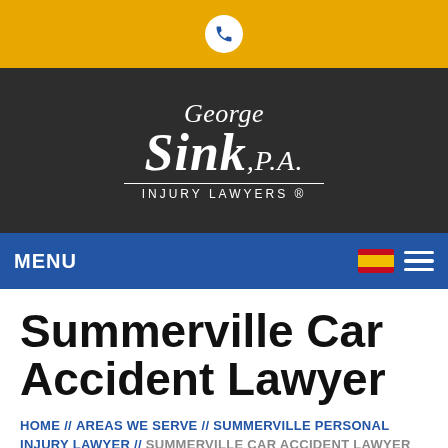[Figure (logo): Gold top bar with white phone icon circle in center]
[Figure (logo): George Sink, P.A. Injury Lawyers logo in white text on dark gray background]
MENU
Summerville Car Accident Lawyer
HOME // AREAS WE SERVE // SUMMERVILLE PERSONAL INJURY LAWYER // SUMMERVILLE CAR ACCIDENT LAWYER